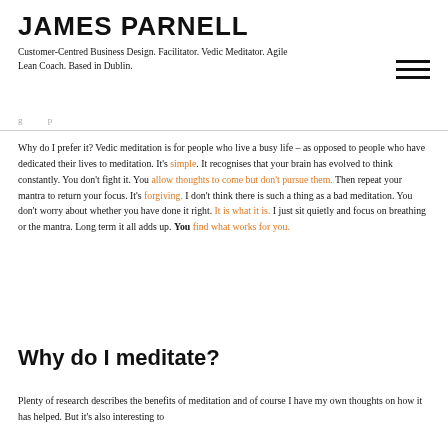JAMES PARNELL
Customer-Centred Business Design. Facilitator. Vedic Meditator. Agile Lean Coach. Based in Dublin.
Why do I prefer it? Vedic meditation is for people who live a busy life – as opposed to people who have dedicated their lives to meditation. It's simple. It recognises that your brain has evolved to think constantly. You don't fight it. You allow thoughts to come but don't pursue them. Then repeat your mantra to return your focus. It's forgiving. I don't think there is such a thing as a bad meditation. You don't worry about whether you have done it right. It is what it is. I just sit quietly and focus on breathing or the mantra. Long term it all adds up. You find what works for you.
Why do I meditate?
Plenty of research describes the benefits of meditation and of course I have my own thoughts on how it has helped. But it's also interesting to